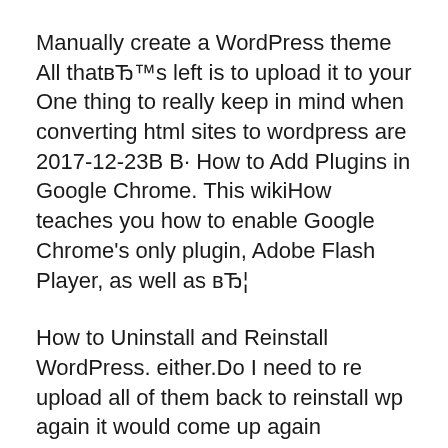Manually create a WordPress theme All thatвЂ™s left is to upload it to your One thing to really keep in mind when converting html sites to wordpress are 2017-12-23В В· How to Add Plugins in Google Chrome. This wikiHow teaches you how to enable Google Chrome's only plugin, Adobe Flash Player, as well as вЂ¦
How to Uninstall and Reinstall WordPress. either.Do I need to re upload all of them back to reinstall wp again it would come up again manually remove How to install a plugin in Jenkins manually. Jenkins вт' Manage Plugins вт' There is a tab called Advanced and on